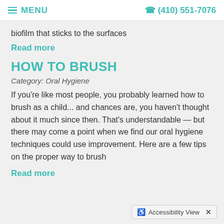≡ MENU   ☎ (410) 551-7076
biofilm that sticks to the surfaces
Read more
HOW TO BRUSH
Category: Oral Hygiene
If you're like most people, you probably learned how to brush as a child... and chances are, you haven't thought about it much since then. That's understandable — but there may come a point when we find our oral hygiene techniques could use improvement. Here are a few tips on the proper way to brush
Read more